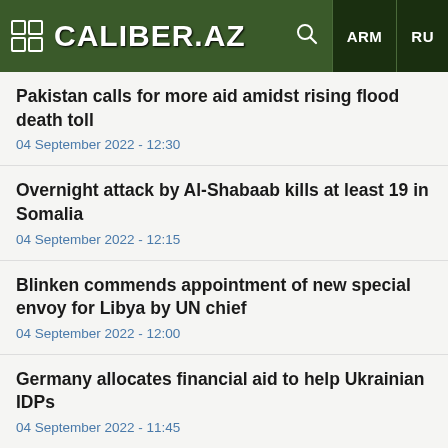CALIBER.AZ | ARM | RU
Pakistan calls for more aid amidst rising flood death toll
04 September 2022 - 12:30
Overnight attack by Al-Shabaab kills at least 19 in Somalia
04 September 2022 - 12:15
Blinken commends appointment of new special envoy for Libya by UN chief
04 September 2022 - 12:00
Germany allocates financial aid to help Ukrainian IDPs
04 September 2022 - 11:45
Anti-terror operation by Türkiye continues hitting terrorists in Syria
04 September 2022 - 11:30
NASA again fails to launch Space Launch System giant rocket to Moon